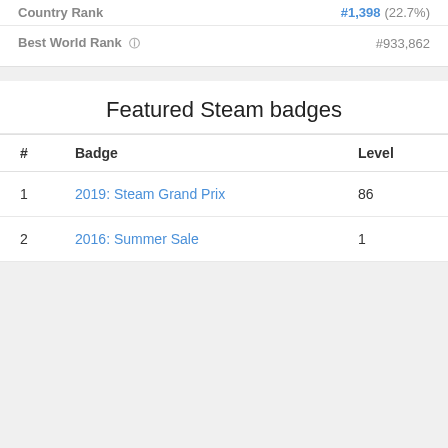| Country Rank | #1,398 (22.7%) |
| --- | --- |
| Best World Rank ⓘ | #933,862 |
Featured Steam badges
| # | Badge | Level |
| --- | --- | --- |
| 1 | 2019: Steam Grand Prix | 86 |
| 2 | 2016: Summer Sale | 1 |